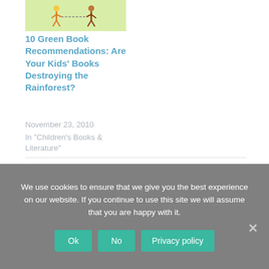[Figure (illustration): Small illustration showing cartoon figures of children playing or running, on a light green background, used as a thumbnail for a blog article about green book recommendations.]
10 Green Book Recommendations: Are Your Kids' Books Destroying the Rainforest?
November 23, 2010
In "Children's Books & Literature"
We use cookies to ensure that we give you the best experience on our website. If you continue to use this site we will assume that you are happy with it.